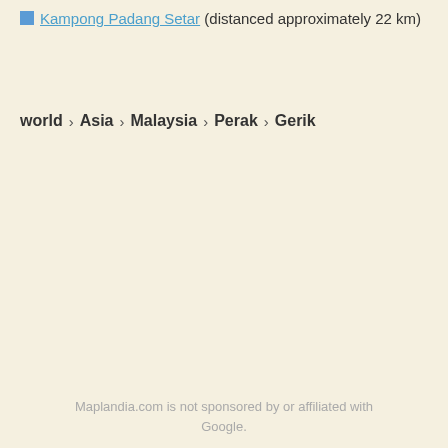Kampong Padang Setar (distanced approximately 22 km)
world > Asia > Malaysia > Perak > Gerik
Maplandia.com is not sponsored by or affiliated with Google.